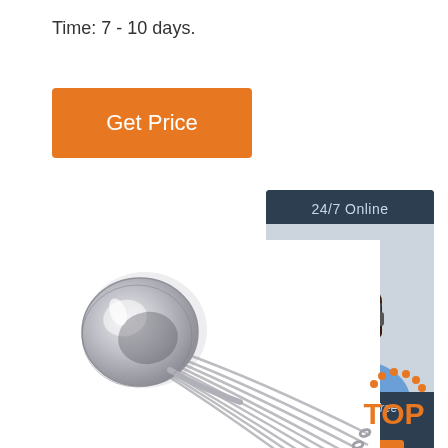Time: 7 - 10 days.
[Figure (other): Orange 'Get Price' button]
[Figure (other): Customer service chat widget with '24/7 Online' header, agent photo, 'Click here for free chat!' text, and orange QUOTATION button]
[Figure (photo): Stack of silver/chrome stainless steel spoons fanned out on white background]
[Figure (other): Orange 'TOP' badge with dot pattern in upper right]